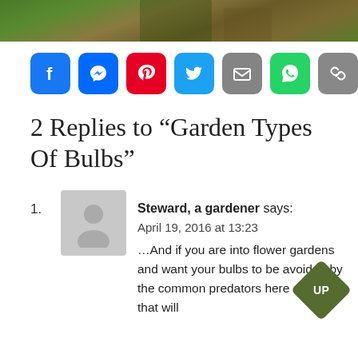[Figure (photo): Partial photo of garden plants/bulbs with dirt, shown as a strip at the top of the page]
[Figure (infographic): Row of social media share buttons: Facebook, Messenger, Pinterest, Twitter, Email, WhatsApp, Copy Link]
2 Replies to “Garden Types Of Bulbs”
1. Steward, a gardener says:
April 19, 2016 at 13:23
…And if you are into flower gardens and want your bulbs to be avoided by the common predators here are some that will